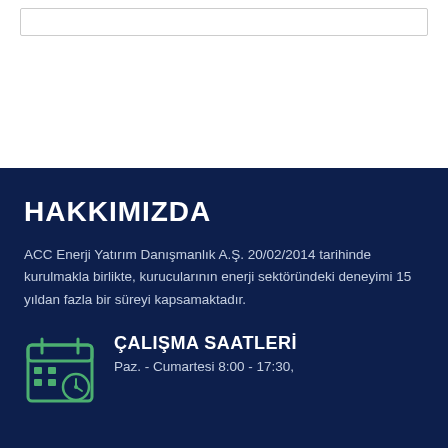[Figure (other): White top section with a light gray bordered rectangular box at the top]
HAKKIMIZDA
ACC Enerji Yatırım Danışmanlık A.Ş. 20/02/2014 tarihinde kurulmakla birlikte, kurucularının enerji sektöründeki deneyimi 15 yıldan fazla bir süreyi kapsamaktadır.
[Figure (illustration): Green calendar/clock icon]
ÇALIŞMA SAATLERİ
Paz. - Cumartesi 8:00 - 17:30,